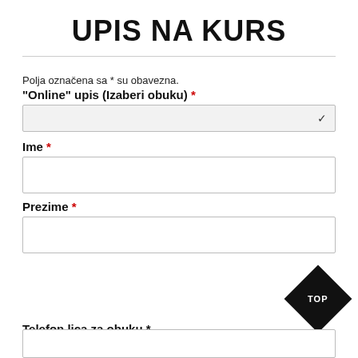UPIS NA KURS
Polja označena sa * su obavezna.
"Online" upis (Izaberi obuku) *
Ime *
Prezime *
Telefon lica za obuku *